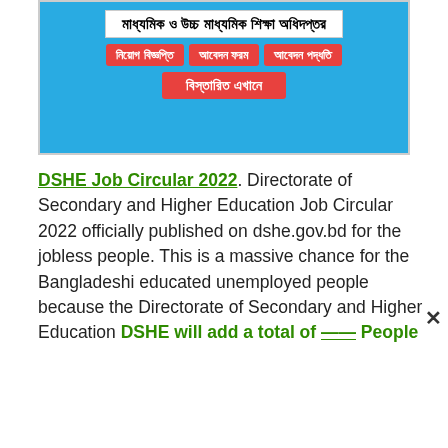[Figure (infographic): Blue banner for Directorate of Secondary and Higher Education (DSHE) showing Bengali text for the organization name, three red buttons labeled in Bengali (Job Circular, Application Form, Application Method), and a red button saying 'Details Here' in Bengali.]
DSHE Job Circular 2022. Directorate of Secondary and Higher Education Job Circular 2022 officially published on dshe.gov.bd for the jobless people. This is a massive chance for the Bangladeshi educated unemployed people because the Directorate of Secondary and Higher Education DSHE will add a total of —— People